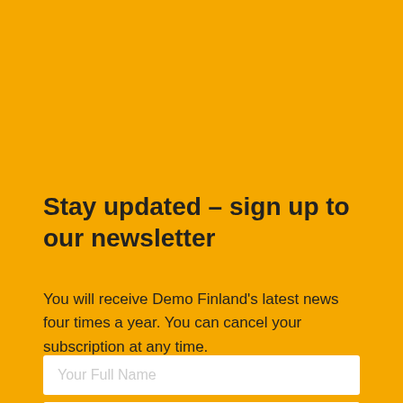Stay updated – sign up to our newsletter
You will receive Demo Finland's latest news four times a year. You can cancel your subscription at any time.
Your Full Name